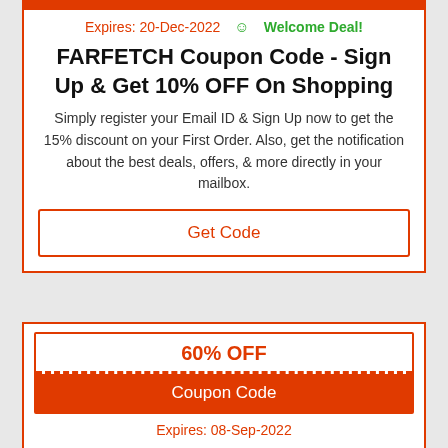Expires: 20-Dec-2022  ☺ Welcome Deal!
FARFETCH Coupon Code - Sign Up & Get 10% OFF On Shopping
Simply register your Email ID & Sign Up now to get the 15% discount on your First Order. Also, get the notification about the best deals, offers, & more directly in your mailbox.
Get Code
60% OFF
Coupon Code
Expires: 08-Sep-2022
Zalora Coupon Code - 9.9 Blowout Deal - Enjoy Up To 30% + EXTRA 30% OFF On Women Fashion